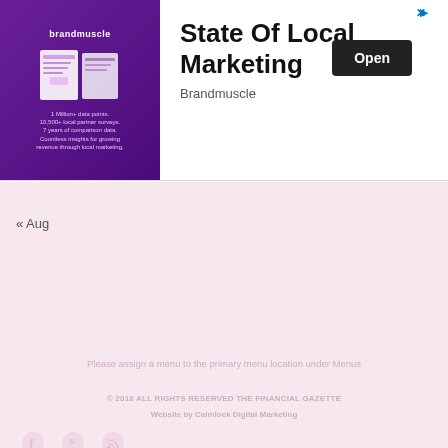[Figure (screenshot): Advertisement banner for Brandmuscle 'State Of Local Marketing' report with purple branded image on left and title, Open button on right]
« Aug
Please assign a menu to the primary menu location under Menus
© 2018 ALL RIGHTS RESERVED THE FINANCIAL GAZETTE
Website by Calmlock Digital Marketing